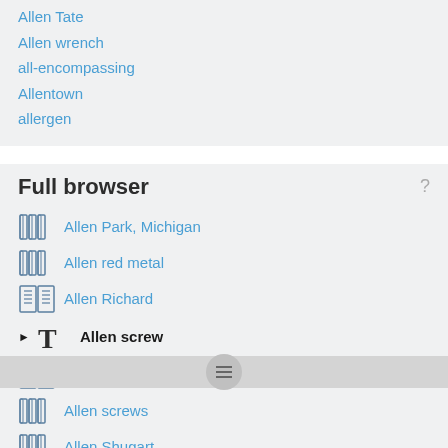Allen Tate
Allen wrench
all-encompassing
Allentown
allergen
Full browser
Allen Park, Michigan
Allen red metal
Allen Richard
Allen screw
Allen screws
Allen screws
Allen Shugart
Allen Spiegel Fine Arts